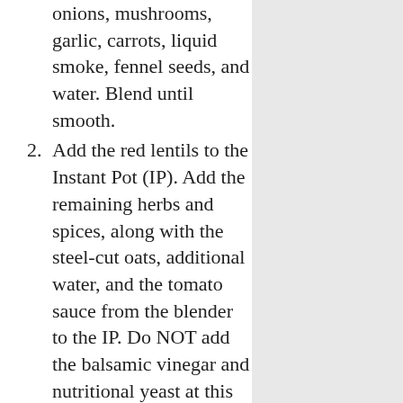onions, mushrooms, garlic, carrots, liquid smoke, fennel seeds, and water. Blend until smooth.
2. Add the red lentils to the Instant Pot (IP). Add the remaining herbs and spices, along with the steel-cut oats, additional water, and the tomato sauce from the blender to the IP. Do NOT add the balsamic vinegar and nutritional yeast at this point. Give the pot a quick stir through. Engage the lid, ensure that the valve is sealed, and cook for 20 minutes on the "Manual/Pressure Cook" mode.
3. Allow the IP to release the pressure naturally for 10 minutes. Afterward, remove